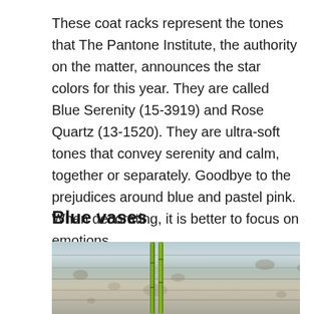These coat racks represent the tones that The Pantone Institute, the authority on the matter, announces the star colors for this year. They are called Blue Serenity (15-3919) and Rose Quartz (13-1520). They are ultra-soft tones that convey serenity and calm, together or separately. Goodbye to the prejudices around blue and pastel pink. When decorating, it is better to focus on emotions.
Blue vases
[Figure (photo): Photo of green bamboo stems in front of a weathered light blue/grey wooden plank background]